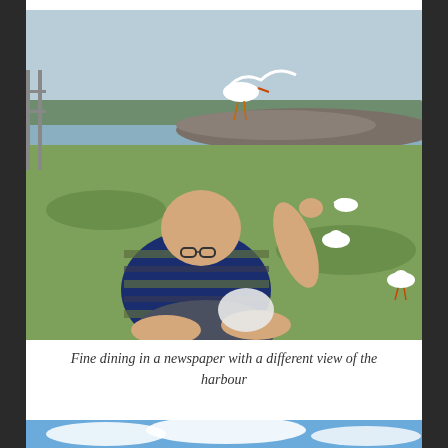[Figure (photo): A bald man wearing glasses and a navy blue and tan striped shirt sits on the ground with his back to the camera, feeding seagulls on a grassy area by a harbour. A seagull is flying directly above him. Several other seagulls are visible on the grass nearby. A rocky breakwater and calm water are visible in the background.]
Fine dining in a newspaper with a different view of the harbour
[Figure (photo): Partial view of a blue sky with white clouds, cropped at the bottom of the page.]